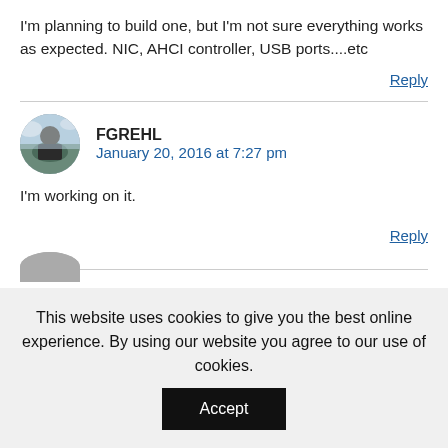I'm planning to build one, but I'm not sure everything works as expected. NIC, AHCI controller, USB ports....etc
Reply
FGREHL
January 20, 2016 at 7:27 pm
I'm working on it.
Reply
This website uses cookies to give you the best online experience. By using our website you agree to our use of cookies.